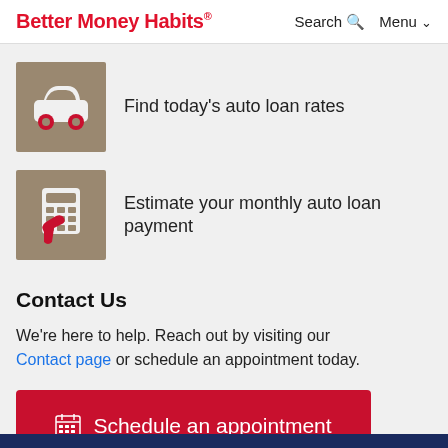Better Money Habits® | Search Menu
[Figure (illustration): Tan/brown square icon with a white car silhouette and red wheels, representing auto loans]
Find today's auto loan rates
[Figure (illustration): Tan/brown square icon with a white calculator and a red hand pointing/clicking, representing auto loan payment calculator]
Estimate your monthly auto loan payment
Contact Us
We're here to help. Reach out by visiting our Contact page or schedule an appointment today.
Schedule an appointment